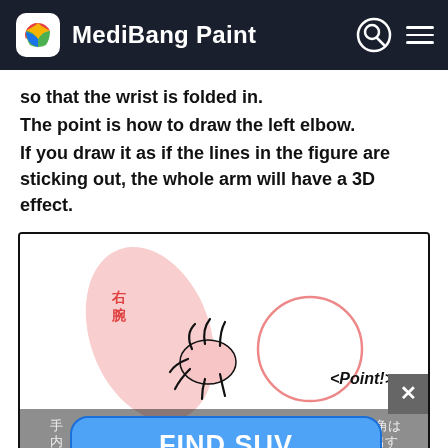MediBang Paint
so that the wrist is folded in.
The point is how to draw the left elbow.
If you draw it as if the lines in the figure are sticking out, the whole arm will have a 3D effect.
[Figure (illustration): Illustration showing a sketch of a wrist/elbow drawing tutorial with Japanese annotations, a pink arm shape, and a hand gesture. Text '＜Point!＞' appears on the right. Japanese text annotations visible at bottom.]
FIND SUV DEALS